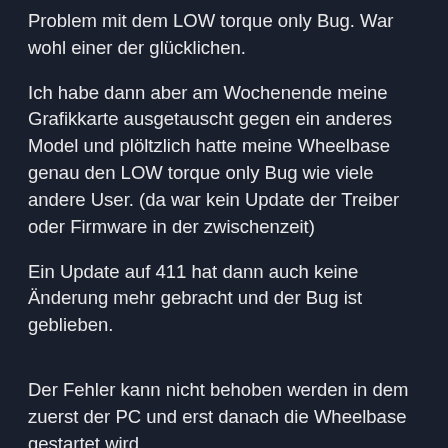Problem mit dem LOW torque only Bug. War wohl einer der glücklichen.
Ich habe dann aber am Wochenende meine Grafikkarte ausgetauscht gegen ein anderes Model und plöltzlich hatte meine Wheelbase genau den LOW torque only Bug wie viele andere User. (da war kein Update der Treiber oder Firmware in der zwischenzeit)
Ein Update auf 411 hat dann auch keine Änderung mehr gebracht und der Bug ist geblieben.
Der Fehler kann nicht behoben werden in dem zuerst der PC und erst danach die Wheelbase gestartet wird.
Vl. bringt euch das weiter? Jedenfalls sehr eigenartig dass sich der Fehler bei mir erst nach einem Austausch der Grafikkarte gezeigt hat (hatte vorher eine 1080ti und habe jetzt testweise eine 3090 verbaut)